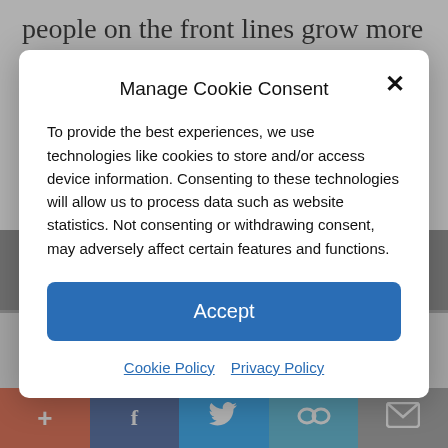people on the front lines grow more tired, anxious, and frustrated with each passing day. There have already been
Manage Cookie Consent
To provide the best experiences, we use technologies like cookies to store and/or access device information. Consenting to these technologies will allow us to process data such as website statistics. Not consenting or withdrawing consent, may adversely affect certain features and functions.
Accept
Cookie Policy  Privacy Policy
Equal Opportunity Haters